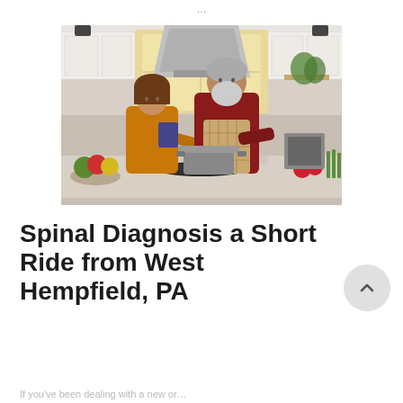…
[Figure (photo): An older couple cooking together in a modern kitchen. A woman in an orange sweater and a man with a grey beard wearing a red plaid shirt and apron are standing at a kitchen island stovetop, looking at a pot.]
Spinal Diagnosis a Short Ride from West Hempfield, PA
If you've been dealing with a new or…